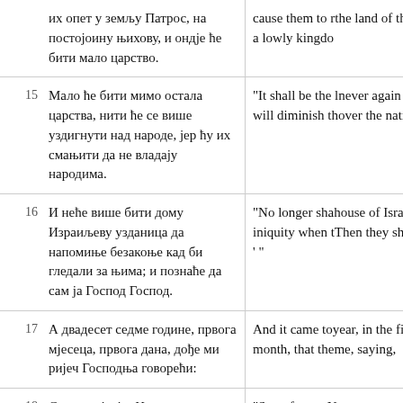| # | Serbian | English |
| --- | --- | --- |
|  | их опет у земљу Патрос, на постојоину њихову, и ондје ће бити мало царство. | cause them to return to the land of their… a lowly kingdom |
| 15 | Мало ће бити мимо остала царства, нити ће се више уздигнути над народе, јер ћу их смањити да не владају народима. | "It shall be the l… never again exa… will diminish th… over the nations… |
| 16 | И неће више бити дому Израиљеву узданица да напомиње безакоње кад би гледали за њима; и познаће да сам ја Господ Господ. | "No longer sha… house of Israel, … iniquity when t… Then they shall … ' " |
| 17 | А двадесет седме године, првога мјесеца, првога дана, дође ми ријеч Господња говорећи: | And it came to … year, in the firs… month, that the … me, saying, |
| 18 | Сине човјечји, Навуходоносор цар | "Son of man, N… |